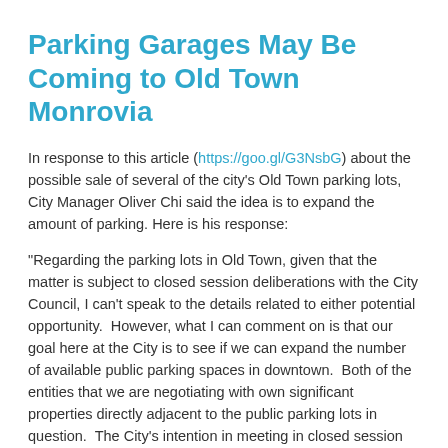Parking Garages May Be Coming to Old Town Monrovia
In response to this article (https://goo.gl/G3NsbG) about the possible sale of several of the city's Old Town parking lots, City Manager Oliver Chi said the idea is to expand the amount of parking. Here is his response:
"Regarding the parking lots in Old Town, given that the matter is subject to closed session deliberations with the City Council, I can't speak to the details related to either potential opportunity.  However, what I can comment on is that our goal here at the City is to see if we can expand the number of available public parking spaces in downtown.  Both of the entities that we are negotiating with own significant properties directly adjacent to the public parking lots in question.  The City's intention in meeting in closed session with the City Council is to discuss possible opportunities where we might be able to partner to construct a parking structure to expand the number of public parking spaces available in Old Town additionally we are working to ensure that